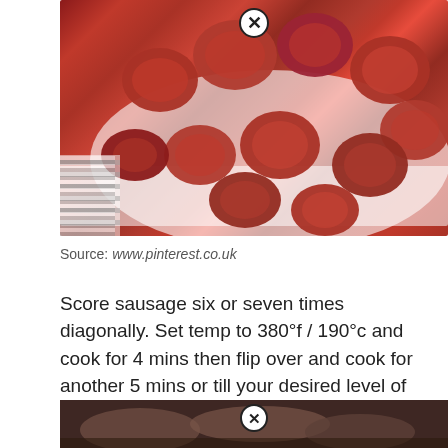[Figure (photo): Sliced kielbasa/smoked sausage pieces cooked and arranged on a white plate with a striped cloth visible on the left side. A close-up button (X) is visible at the top center of the image.]
Source: www.pinterest.co.uk
Score sausage six or seven times diagonally. Set temp to 380°f / 190°c and cook for 4 mins then flip over and cook for another 5 mins or till your desired level of crispy.
[Figure (photo): Partial view of another food photo at the bottom of the page, showing what appears to be cooked/grilled food in dark tones. A close button (X) is visible at the top center.]